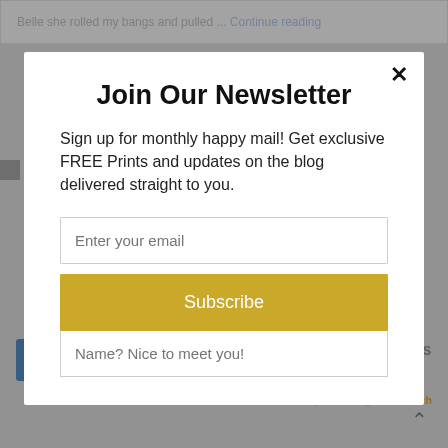Belle She rolled my bangs and pulled ... Continue reading
Join Our Newsletter
Sign up for monthly happy mail! Get exclusive FREE Prints and updates on the blog delivered straight to you.
Enter your email
Subscribe
Name? Nice to meet you!
SHARES
powered by MailMunch